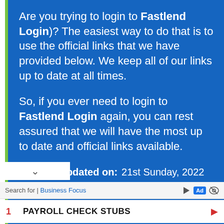Are you trying to login to Fastlend Login)? The easiest way to do that is to use the official links that we have provided below. We keep all of our links up to date at all times.
So, if you ever need to login to Fastlend Login again, you can rest assured that we will have the most up to date and official links available.
Last updated on: 21st Sunday, 2022
Search for | Business Focus
1  PAYROLL CHECK STUBS